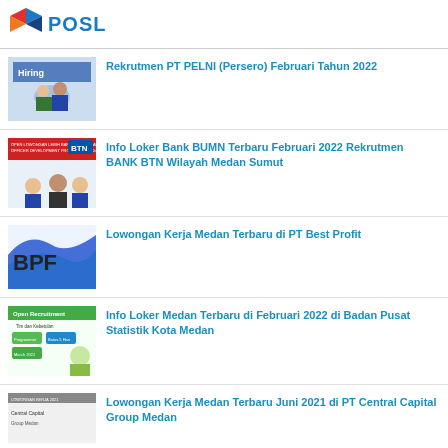POSL
Rekrutmen PT PELNI (Persero) Februari Tahun 2022
Info Loker Bank BUMN Terbaru Februari 2022 Rekrutmen BANK BTN Wilayah Medan Sumut
Lowongan Kerja Medan Terbaru di PT Best Profit
Info Loker Medan Terbaru di Februari 2022 di Badan Pusat Statistik Kota Medan
Lowongan Kerja Medan Terbaru Juni 2021 di PT Central Capital Group Medan